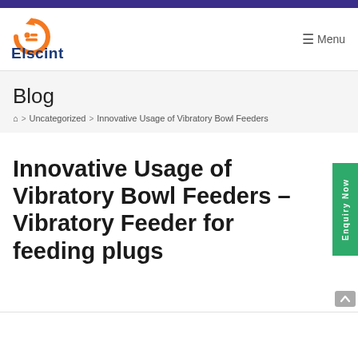[Figure (logo): Elscint company logo with orange circular arrow icon and dark blue Elscint wordmark]
≡ Menu
Blog
⌂ > Uncategorized > Innovative Usage of Vibratory Bowl Feeders
Innovative Usage of Vibratory Bowl Feeders – Vibratory Feeder for feeding plugs